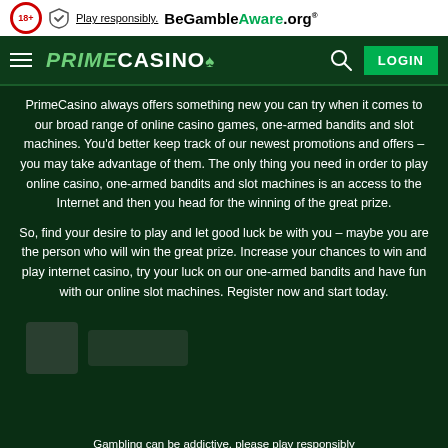18+ Play responsibly. BeGambleAware.org
[Figure (logo): Prime Casino logo with hamburger menu, search icon, and LOGIN button on dark green navigation bar]
PrimeCasino always offers something new you can try when it comes to our broad range of online casino games, one-armed bandits and slot machines. You'd better keep track of our newest promotions and offers – you may take advantage of them. The only thing you need in order to play online casino, one-armed bandits and slot machines is an access to the Internet and then you head for the winning of the great prize.
So, find your desire to play and let good luck be with you – maybe you are the person who will win the great prize. Increase your chances to win and play internet casino, try your luck on our one-armed bandits and have fun with our online slot machines. Register now and start today.
[Figure (other): Blurred/obscured promotional image area]
Gambling can be addictive, please play responsibly
V1.10.0